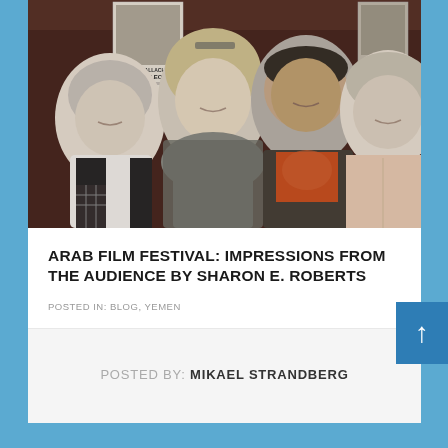[Figure (photo): Group photo of four people (three women and one man) standing together indoors, likely at a cinema or event venue. Movie posters are visible in the background including one for Sergio Leone. The people are smiling and posing together.]
ARAB FILM FESTIVAL: IMPRESSIONS FROM THE AUDIENCE BY SHARON E. ROBERTS
POSTED IN: BLOG, YEMEN
POSTED BY: MIKAEL STRANDBERG